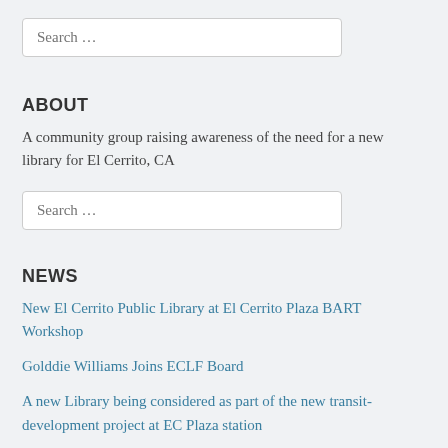Search ...
ABOUT
A community group raising awareness of the need for a new library for El Cerrito, CA
Search ...
NEWS
New El Cerrito Public Library at El Cerrito Plaza BART Workshop
Golddie Williams Joins ECLF Board
A new Library being considered as part of the new transit-development project at EC Plaza station